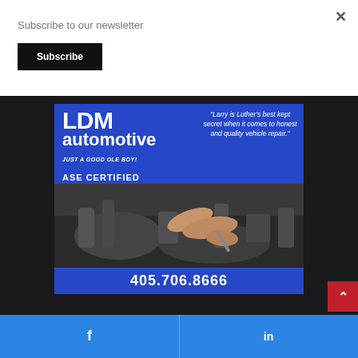Subscribe to our newsletter
Subscribe
[Figure (illustration): LDM Automotive advertisement: blue background with 'LDM automotive JUST A GOOD OLE BOY! ASE CERTIFIED' on the left, a quote 'Larry is Luther's best kept secret when it comes to honest and quality vehicle repair.' on the right, a photo of a mechanic's hands working on an engine in the middle, and phone number 405.706.8666 at the bottom on a blue bar.]
405.706.8666